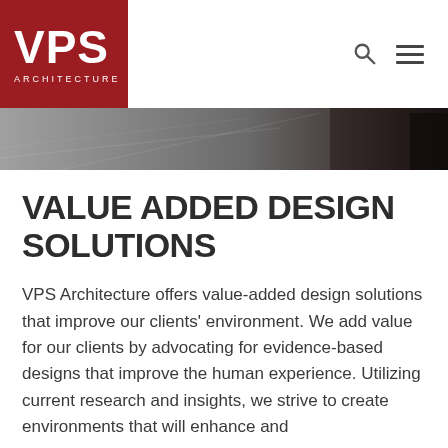VPS ARCHITECTURE
[Figure (photo): Narrow grayscale hero image strip showing an architectural interior/exterior scene, dark tones on the right side.]
VALUE ADDED DESIGN SOLUTIONS
VPS Architecture offers value-added design solutions that improve our clients' environment. We add value for our clients by advocating for evidence-based designs that improve the human experience. Utilizing current research and insights, we strive to create environments that will enhance and